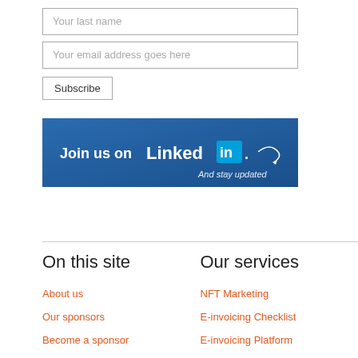Your last name
Your email address goes here
Subscribe
[Figure (infographic): LinkedIn banner with blue gradient background, text 'Join us on LinkedIn' with the LinkedIn logo and 'And stay updated' in cursive text with an arrow]
On this site
Our services
About us
NFT Marketing
Our sponsors
E-invoicing Checklist
Become a sponsor
E-invoicing Platform